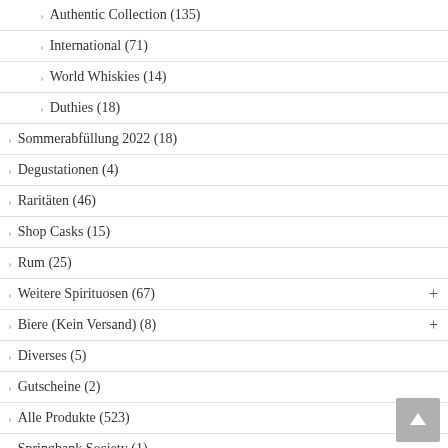Authentic Collection (135)
International (71)
World Whiskies (14)
Duthies (18)
Sommerabfüllung 2022 (18)
Degustationen (4)
Raritäten (46)
Shop Casks (15)
Rum (25)
Weitere Spirituosen (67)
Biere (Kein Versand) (8)
Diverses (5)
Gutscheine (2)
Alle Produkte (523)
Springbank Society (1)
Cadenhead's Club (1)